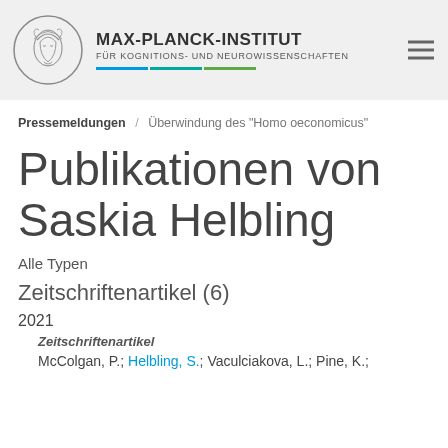[Figure (logo): Max-Planck-Institut logo with circular emblem showing Athena/Minerva head, institute name and colored bars]
MAX-PLANCK-INSTITUT FÜR KOGNITIONS- UND NEUROWISSENSCHAFTEN
Pressemeldungen / Überwindung des "Homo oeconomicus"
Publikationen von Saskia Helbling
Alle Typen
Zeitschriftenartikel (6)
2021
Zeitschriftenartikel
McColgan, P.; Helbling, S.; Vaculciakova, L.; Pine, K.;